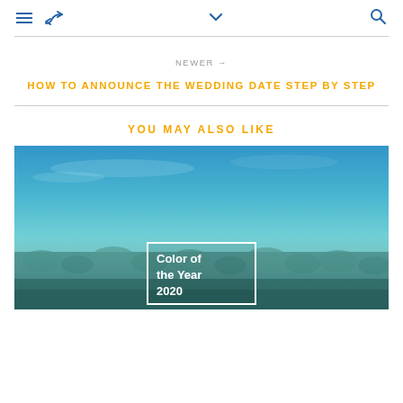Navigation header with hamburger menu, retweet icon, chevron/dropdown, and search icon
NEWER →
HOW TO ANNOUNCE THE WEDDING DATE STEP BY STEP
YOU MAY ALSO LIKE
[Figure (photo): Underwater ocean photo with coral/seagrass bed in turquoise blue water; white-bordered box overlay reads 'Color of the Year 2020']